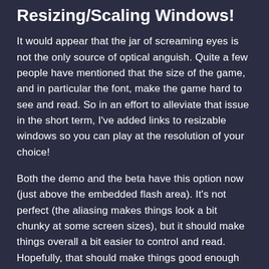Resizing/Scaling Windows!
It would appear that the jar of screaming eyes is not the only source of optical anguish. Quite a few people have mentioned that the size of the game, and in particular the font, make the game hard to see and read. So in an effort to alleviate that issue in the short term, I've added links to resizable windows so you can play at the resolution of your choice!
Both the demo and the beta have this option now (just above the embedded flash area). It's not perfect (the aliasing makes things look a bit chunky at some screen sizes), but it should make things overall a bit easier to control and read. Hopefully, that should make things good enough until a true higher